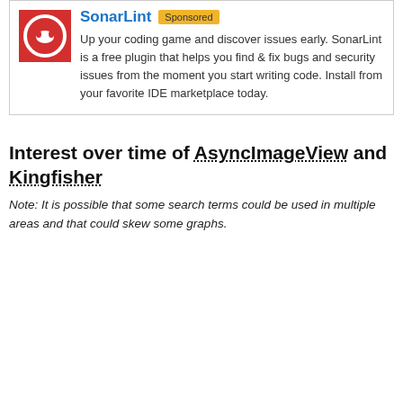[Figure (logo): SonarLint red logo with white sound wave icon]
SonarLint Sponsored
Up your coding game and discover issues early. SonarLint is a free plugin that helps you find & fix bugs and security issues from the moment you start writing code. Install from your favorite IDE marketplace today.
Interest over time of AsyncImageView and Kingfisher
Note: It is possible that some search terms could be used in multiple areas and that could skew some graphs.